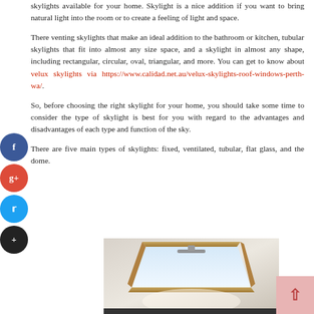skylights available for your home. Skylight is a nice addition if you want to bring natural light into the room or to create a feeling of light and space.
There venting skylights that make an ideal addition to the bathroom or kitchen, tubular skylights that fit into almost any size space, and a skylight in almost any shape, including rectangular, circular, oval, triangular, and more. You can get to know about velux skylights via https://www.calidad.net.au/velux-skylights-roof-windows-perth-wa/.
So, before choosing the right skylight for your home, you should take some time to consider the type of skylight is best for you with regard to the advantages and disadvantages of each type and function of the sky.
There are five main types of skylights: fixed, ventilated, tubular, flat glass, and the dome.
[Figure (photo): Photo of a velux skylight window installed in a roof, showing a wooden-framed skylight open with natural light coming through, interior ceiling visible below.]